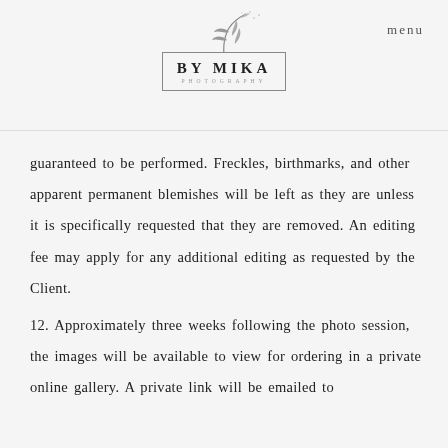BY MIKA PHOTOGRAPHY
guaranteed to be performed. Freckles, birthmarks, and other apparent permanent blemishes will be left as they are unless it is specifically requested that they are removed. An editing fee may apply for any additional editing as requested by the Client.
12. Approximately three weeks following the photo session, the images will be available to view for ordering in a private online gallery. A private link will be emailed to